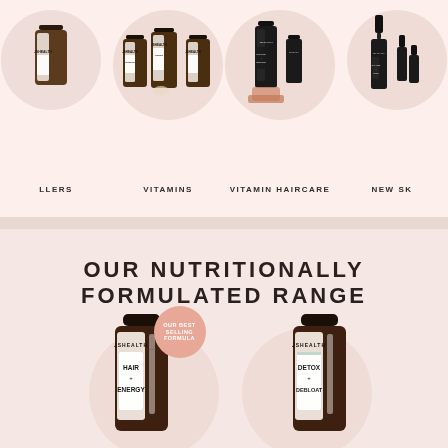[Figure (photo): Four product category columns showing JSHealth supplement bottles, vitamins, vitamin haircare bottles (dark), and new skincare dropper bottles, each over a soft pink circular background]
LLERS
VITAMINS
VITAMIN HAIRCARE
NEW SK
OUR NUTRITIONALLY FORMULATED RANGE
[Figure (photo): Two JSHealth supplement bottles - Hair + Energy formula (with 'Our Best Selling Formula' badge) and Detox + Debloat formula, both brown amber glass bottles with labels, on soft pink background with circular glow]